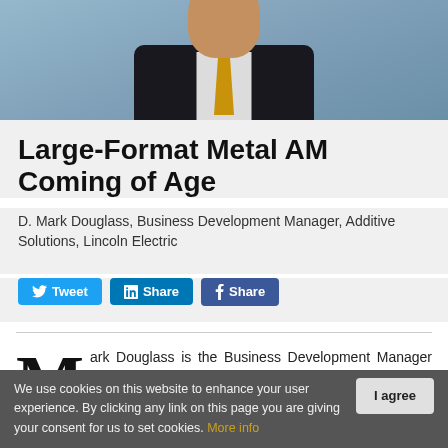[Figure (photo): Headshot of a man in a dark suit with a gold/yellow tie, blue background, cropped at chest level.]
Large-Format Metal AM Coming of Age
D. Mark Douglass, Business Development Manager, Additive Solutions, Lincoln Electric
[Figure (other): Social sharing buttons: Tweet, Share (LinkedIn), Share (Facebook)]
Mark Douglass is the Business Development Manager for Lincoln Electric Additive Solutions, responsible for overseeing sales
We use cookies on this website to enhance your user experience. By clicking any link on this page you are giving your consent for us to set cookies. More info